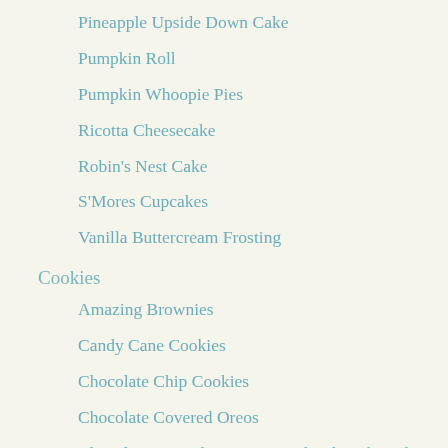Pineapple Upside Down Cake
Pumpkin Roll
Pumpkin Whoopie Pies
Ricotta Cheesecake
Robin's Nest Cake
S'Mores Cupcakes
Vanilla Buttercream Frosting
Cookies
Amazing Brownies
Candy Cane Cookies
Chocolate Chip Cookies
Chocolate Covered Oreos
Chocolate Dipped Peppermint Shortbread Cookies
Coconut Macaroons
Italian Seed Cookies